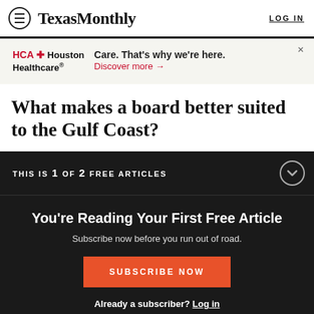TexasMonthly  LOG IN
[Figure (infographic): HCA Houston Healthcare advertisement banner. Text: 'Care. That's why we're here. Discover more →']
What makes a board better suited to the Gulf Coast?
THIS IS 1 OF 2 FREE ARTICLES
You're Reading Your First Free Article
Subscribe now before you run out of road.
SUBSCRIBE NOW
Already a subscriber? Log in